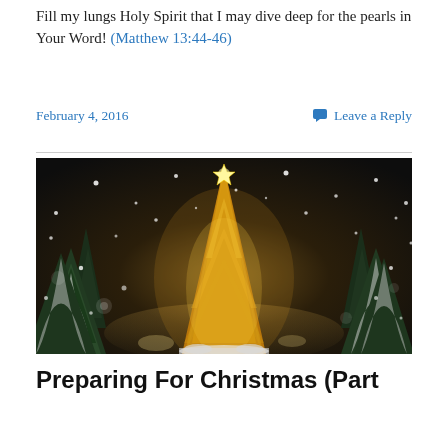Fill my lungs Holy Spirit that I may dive deep for the pearls in Your Word! (Matthew 13:44-46)
February 4, 2016   Leave a Reply
[Figure (photo): A glowing golden Christmas tree surrounded by snow-covered evergreen trees against a dark night sky with snowflakes]
Preparing For Christmas (Part